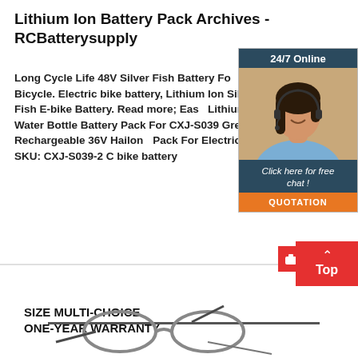Lithium Ion Battery Pack Archives - RCBatterysupply
Long Cycle Life 48V Silver Fish Battery For Bicycle. Electric bike battery, Lithium Ion Silver Fish E-bike Battery. Read more; Easy Lithium Ion Water Bottle Battery Pack For CXJ-S039 Green Rechargeable 36V Hailong Pack For Electric Bike. SKU: CXJ-S039-2 C bike battery
[Figure (photo): Customer service chat widget with woman wearing headset, dark teal header showing '24/7 Online', footer with 'Click here for free chat!' text and orange QUOTATION button]
[Figure (infographic): Red 'Back to Top' button with upward arrow and small product icon]
SIZE MULTI-CHOICE
ONE-YEAR WARRANTY
[Figure (photo): Partial view of product (appears to be glasses or similar product with cables)]